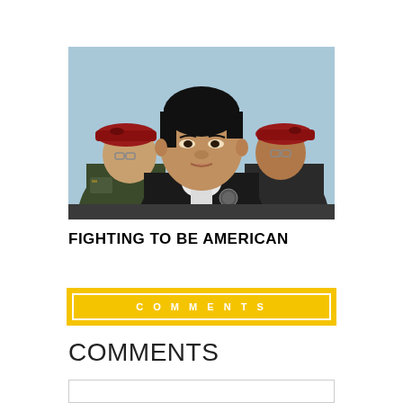[Figure (photo): Three people in military-style uniforms and dark jackets wearing red berets, standing outdoors against a light blue sky. A woman in the center faces forward; two others are visible behind her to the left and right.]
FIGHTING TO BE AMERICAN
COMMENTS
COMMENTS